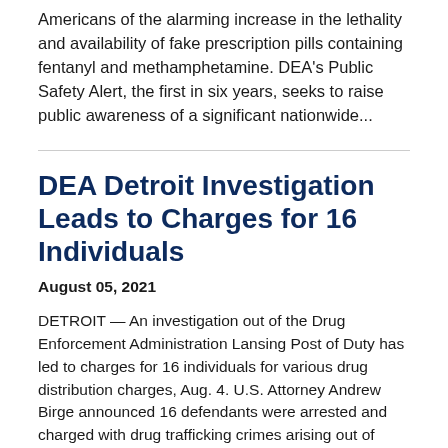Americans of the alarming increase in the lethality and availability of fake prescription pills containing fentanyl and methamphetamine. DEA's Public Safety Alert, the first in six years, seeks to raise public awareness of a significant nationwide...
DEA Detroit Investigation Leads to Charges for 16 Individuals
August 05, 2021
DETROIT — An investigation out of the Drug Enforcement Administration Lansing Post of Duty has led to charges for 16 individuals for various drug distribution charges, Aug. 4. U.S. Attorney Andrew Birge announced 16 defendants were arrested and charged with drug trafficking crimes arising out of